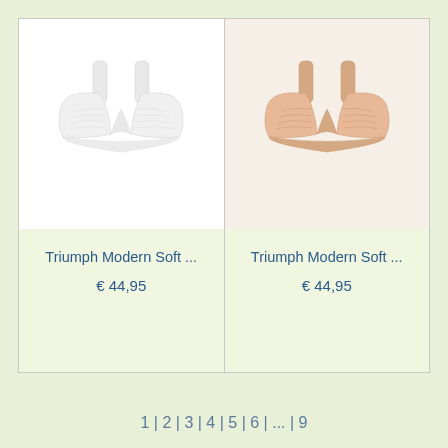[Figure (photo): White Triumph Modern Soft bra product photo on light background]
Triumph Modern Soft ...
€ 44,95
[Figure (photo): Beige/nude Triumph Modern Soft bra product photo on light background]
Triumph Modern Soft ...
€ 44,95
1 | 2 | 3 | 4 | 5 | 6 | ... | 9